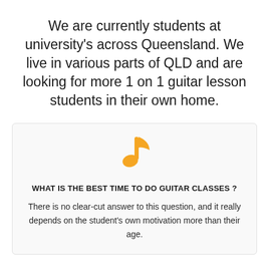We are currently students at university's across Queensland. We live in various parts of QLD and are looking for more 1 on 1 guitar lesson students in their own home.
[Figure (illustration): Orange musical note / guitar emoji icon]
WHAT IS THE BEST TIME TO DO GUITAR CLASSES ?
There is no clear-cut answer to this question, and it really depends on the student's own motivation more than their age.